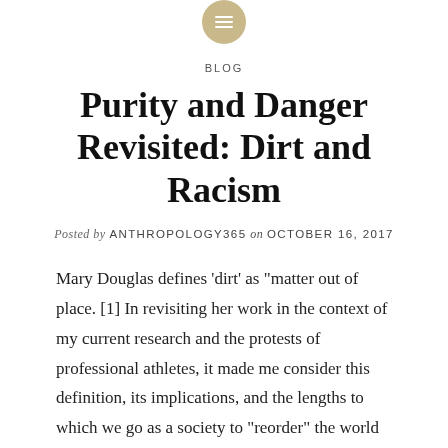[Figure (logo): Circular gold/tan icon with three horizontal white lines (hamburger/menu icon) at the top center of the page]
BLOG
Purity and Danger Revisited: Dirt and Racism
Posted by ANTHROPOLOGY365 on OCTOBER 16, 2017
Mary Douglas defines ‘dirt’ as “matter out of place. [1] In revisiting her work in the context of my current research and the protests of professional athletes, it made me consider this definition, its implications, and the lengths to which we go as a society to “reorder” the world and cleanse. “Dirt